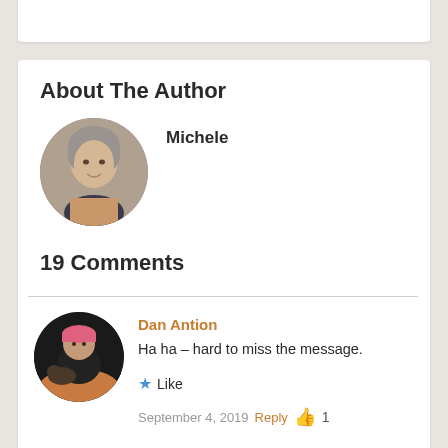About The Author
[Figure (photo): Circular profile photo of Michele, a woman with gray-streaked hair, smiling]
Michele
19 Comments
[Figure (photo): Circular profile photo of Dan Antion, a man sitting on a floor with a dog, wearing a pink cap]
Dan Antion
Ha ha – hard to miss the message.
Like
September 4, 2019  Reply  👍 1
[Figure (photo): Circular profile photo of Michele, partially visible at bottom]
Michele